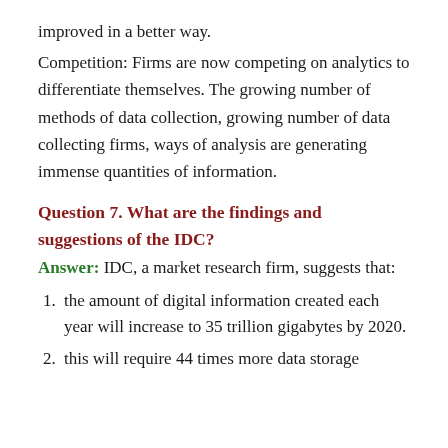improved in a better way.
Competition: Firms are now competing on analytics to differentiate themselves. The growing number of methods of data collection, growing number of data collecting firms, ways of analysis are generating immense quantities of information.
Question 7. What are the findings and suggestions of the IDC?
Answer:  IDC, a market research firm, suggests that:
the amount of digital information created each year will increase to 35 trillion gigabytes by 2020.
this will require 44 times more data storage